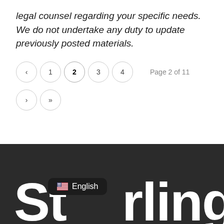legal counsel regarding your specific needs. We do not undertake any duty to update previously posted materials.
Page 2 of 11
[Figure (screenshot): Pagination controls showing circles with: back arrow, 1, 2 (active/bold), 3, 4, forward arrow, double-forward arrow. Label reads 'Page 2 of 11'.]
[Figure (logo): Sterling logo in large white bold text on dark background, with a language badge showing English flag and 'English' label overlay.]